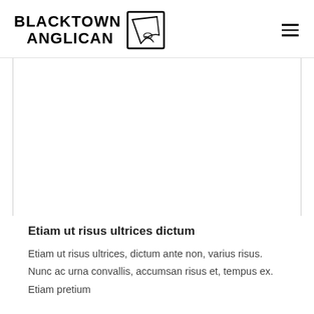BLACKTOWN ANGLICAN
[Figure (illustration): Blank white image area inside bordered content region]
Etiam ut risus ultrices dictum
Etiam ut risus ultrices, dictum ante non, varius risus. Nunc ac urna convallis, accumsan risus et, tempus ex. Etiam pretium